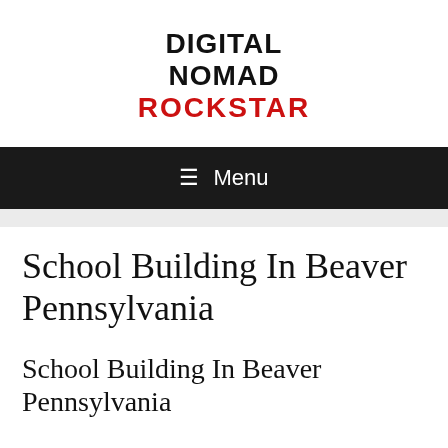DIGITAL NOMAD ROCKSTAR
≡ Menu
School Building In Beaver Pennsylvania
School Building In Beaver Pennsylvania